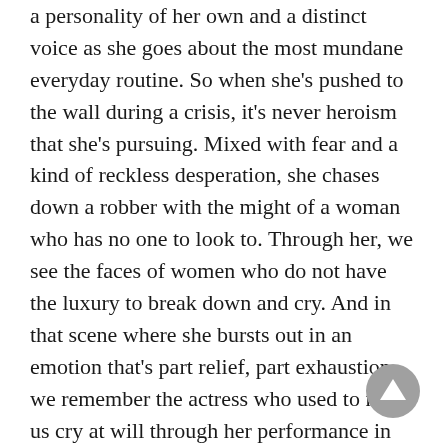a personality of her own and a distinct voice as she goes about the most mundane everyday routine. So when she's pushed to the wall during a crisis, it's never heroism that she's pursuing. Mixed with fear and a kind of reckless desperation, she chases down a robber with the might of a woman who has no one to look to. Through her, we see the faces of women who do not have the luxury to break down and cry. And in that scene where she bursts out in an emotion that's part relief, part exhaustion, we remember the actress who used to make us cry at will through her performance in films like Nandanam.
[Figure (other): A circular grey button with an upward-pointing triangle (scroll-to-top button) in the bottom right corner.]